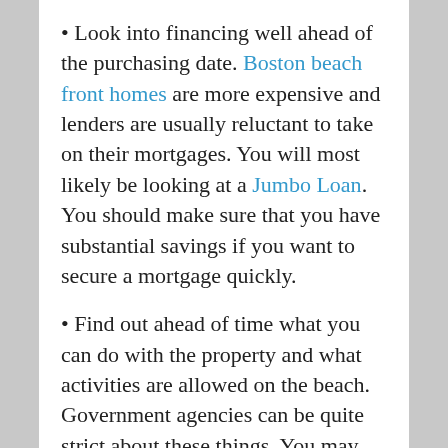Look into financing well ahead of the purchasing date. Boston beach front homes are more expensive and lenders are usually reluctant to take on their mortgages. You will most likely be looking at a Jumbo Loan. You should make sure that you have substantial savings if you want to secure a mortgage quickly.
Find out ahead of time what you can do with the property and what activities are allowed on the beach. Government agencies can be quite strict about these things. You may, for example, be planning to add a